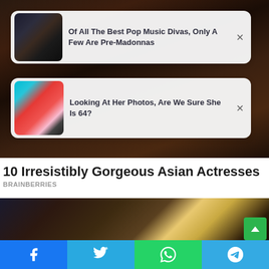[Figure (screenshot): Dark celebrity photo background (top half of page)]
Of All The Best Pop Music Divas, Only A Few Are Pre-Madonnas
Looking At Her Photos, Are We Sure She Is 64?
10 Irresistibly Gorgeous Asian Actresses
BRAINBERRIES
[Figure (photo): Bottom portion of photo showing person with blonde hair in studio/stage setting with gold/purple background]
Facebook  Twitter  WhatsApp  Telegram (social share buttons)